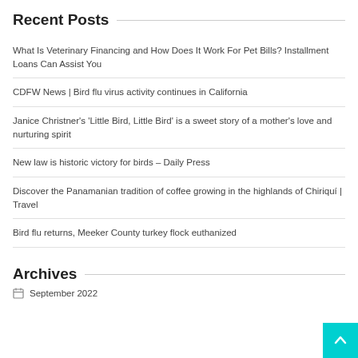Recent Posts
What Is Veterinary Financing and How Does It Work For Pet Bills? Installment Loans Can Assist You
CDFW News | Bird flu virus activity continues in California
Janice Christner's 'Little Bird, Little Bird' is a sweet story of a mother's love and nurturing spirit
New law is historic victory for birds – Daily Press
Discover the Panamanian tradition of coffee growing in the highlands of Chiriquí | Travel
Bird flu returns, Meeker County turkey flock euthanized
Archives
September 2022